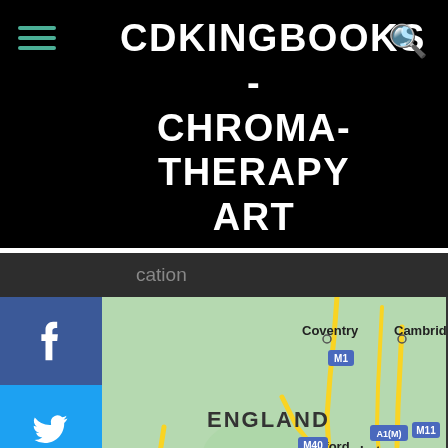CDKINGBOOKS - CHROMATHERAPY ART FOR CALMNESS
ocation
[Figure (map): Google Maps screenshot showing central England including cities: Coventry, Cambridge, Oxford, Luton, London, Bristol, Bath, Swindon. Roads M1, M40, M11, M5, M3, M23, A1(M) visible. Areas: Cotswolds AONB, North Wessex Downs AONB, ENGLAND label.]